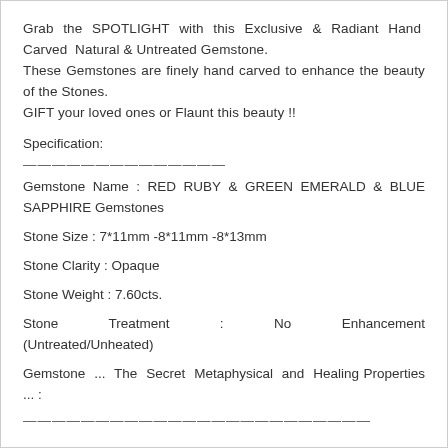Grab the SPOTLIGHT with this Exclusive & Radiant Hand Carved Natural & Untreated Gemstone.
These Gemstones are finely hand carved to enhance the beauty of the Stones.
GIFT your loved ones or Flaunt this beauty !!
Specification:
——————————————
Gemstone Name : RED RUBY & GREEN EMERALD & BLUE SAPPHIRE Gemstones
Stone Size : 7*11mm -8*11mm -8*13mm
Stone Clarity : Opaque
Stone Weight : 7.60cts.
Stone Treatment : No Enhancement (Untreated/Unheated)
Gemstone ... The Secret Metaphysical and Healing Properties ... :
————————————————————————